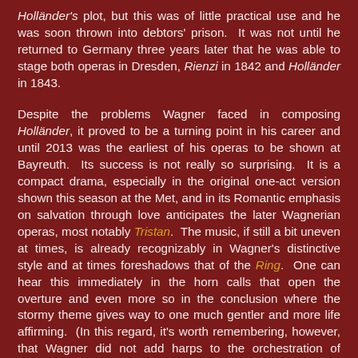Holländer's plot, but this was of little practical use and he was soon thrown into debtors' prison. It was not until he returned to Germany three years later that he was able to stage both operas in Dresden, Rienzi in 1842 and Holländer in 1843.
Despite the problems Wagner faced in composing Holländer, it proved to be a turning point in his career and until 2013 was the earliest of his operas to be shown at Bayreuth. Its success is not really so surprising. It is a compact drama, especially in the original one-act version shown this season at the Met, and in its Romantic emphasis on salvation through love anticipates the later Wagnerian operas, most notably Tristan. The music, if still a bit uneven at times, is already recognizably in Wagner's distinctive style and at times foreshadows that of the Ring. One can hear this immediately in the horn calls that open the overture and even more so in the conclusion where the stormy theme gives way to one much gentler and more life affirming. (In this regard, it's worth remembering, however, that Wagner did not add harps to the orchestration of Holländer's final scene until 1860, so the resemblance may have been